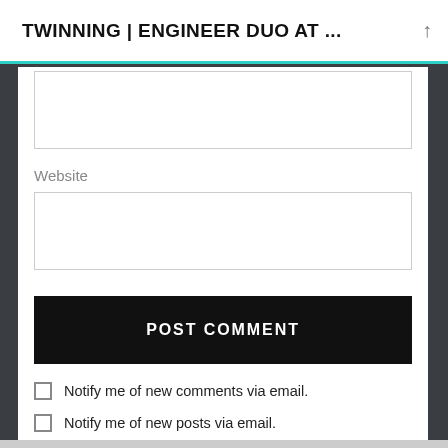TWINNING | ENGINEER DUO AT ...
[Figure (other): Empty text input box (top, partially visible)]
Website
[Figure (other): Empty Website text input box]
POST COMMENT
Notify me of new comments via email.
Notify me of new posts via email.
This site uses Akismet to reduce spam. Learn how your comment data is processed.